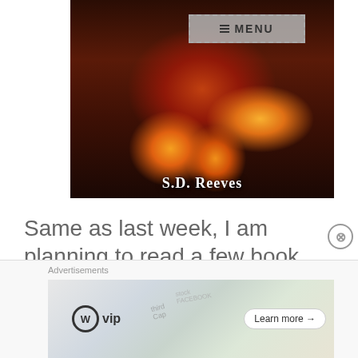[Figure (illustration): Book cover illustration showing a figure reading a book surrounded by candles in a dark, atmospheric fantasy setting. Author name 'S.D. Reeves' displayed at the bottom of the cover.]
Same as last week, I am planning to read a few book that I have been sent by some authors, a
[Figure (screenshot): Advertisement bar at the bottom showing WordPress VIP logo with text 'vip', decorative background with map-like imagery and social media text fragments, and a 'Learn more →' button.]